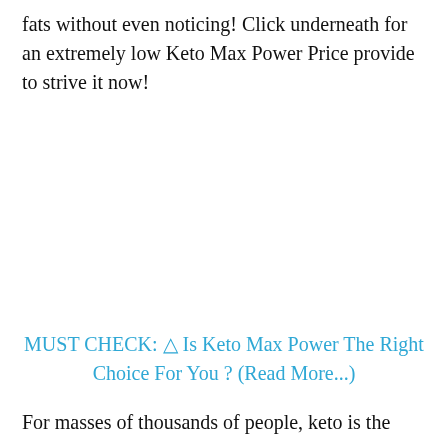fats without even noticing! Click underneath for an extremely low Keto Max Power Price provide to strive it now!
MUST CHECK: ⚠ Is Keto Max Power The Right Choice For You ? (Read More...)
For masses of thousands of people, keto is the